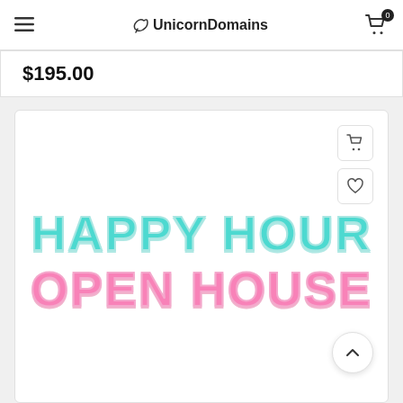UnicornDomains
$195.00
[Figure (illustration): Product listing image showing stylized bold text: 'HAPPY HOUR' in teal/cyan color and 'OPEN HOUSE' in pink color, with rounded bubbly font styling on a white background. Shopping cart and heart action icons appear in the top right of the card.]